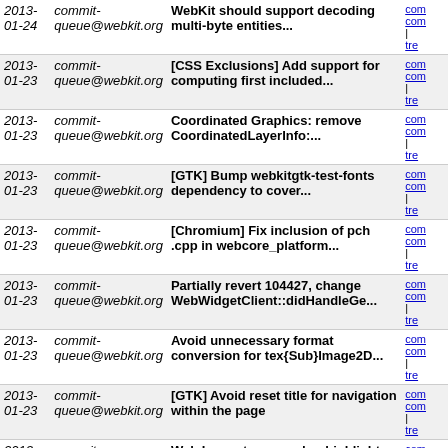| Date | Author | Message | Links |
| --- | --- | --- | --- |
| 2013-01-24 | commit-queue@webkit.org | WebKit should support decoding multi-byte entities... | com
com
| tre |
| 2013-01-23 | commit-queue@webkit.org | [CSS Exclusions] Add support for computing first included... | com
com
| tre |
| 2013-01-23 | commit-queue@webkit.org | Coordinated Graphics: remove CoordinatedLayerInfo:... | com
com
| tre |
| 2013-01-23 | commit-queue@webkit.org | [GTK] Bump webkitgtk-test-fonts dependency to cover... | com
com
| tre |
| 2013-01-23 | commit-queue@webkit.org | [Chromium] Fix inclusion of pch .cpp in webcore_platform... | com
com
| tre |
| 2013-01-23 | commit-queue@webkit.org | Partially revert 104427, change WebWidgetClient::didHandleGe... | com
com
| tre |
| 2013-01-23 | commit-queue@webkit.org | Avoid unnecessary format conversion for tex{Sub}Image2D... | com
com
| tre |
| 2013-01-23 | commit-queue@webkit.org | [GTK] Avoid reset title for navigation within the page | com
com
| tre |
| 2013-01-23 | commit-queue@webkit.org | Web Inspector: speedup highlight regex API in DefaultTextEditor | com
com
| tre |
| 2013-01-23 | commit-queue@webkit.org | [GTK][WK2] Unflag tests related to layoutTestController... | com
com
| tre |
| 2013-01-23 | commit-queue@webkit.org | REGRESSION(r140518): Broke Chromium Win build (gyp... | com
com
| tre |
| 2013-01-23 | commit-queue@webkit.org | Unreviewed, rolling out r140307, r140411, and r140512. | com
com
| tre |
| 2013-01-23 | commit-queue@webkit.org | Source/WebCore: Web Inspector: allow user to resize... | com
com
| tre |
| 2013-01-23 | commit-queue@webkit.org | [CSS Regions] Create Regions... | com |